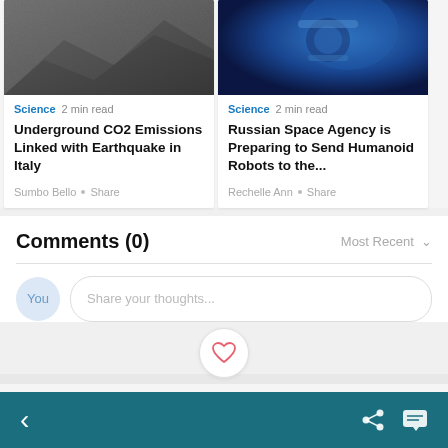[Figure (photo): Rock/geological formation photo, dark gray tones]
Science  2 min read
Underground CO2 Emissions Linked with Earthquake in Italy
Sumbo Bello • Share
[Figure (photo): Robot/mechanical device photo with blue lighting]
Science  2 min read
Russian Space Agency is Preparing to Send Humanoid Robots to the...
Rechelle Ann • Share
Comments (0)
Most Recent ∨
Share your thoughts...